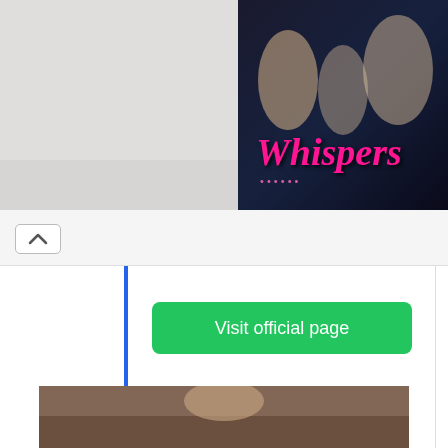[Figure (screenshot): Top portion showing a game/app banner with 'Whispers' branding in pink italic text on a dark background with illustrated characters]
[Figure (screenshot): UI tab/card area with a chevron-up arrow button and a green 'Visit official page' button with a blue left border accent]
If you want to login to Login Etc, then there is a very easy way to do it. A lot of websites will offer you convoluted ways about doing it. However, there is a much easier way. All you need to do is follow these simple instructions below.
[Figure (photo): Partial photo at bottom showing a person]